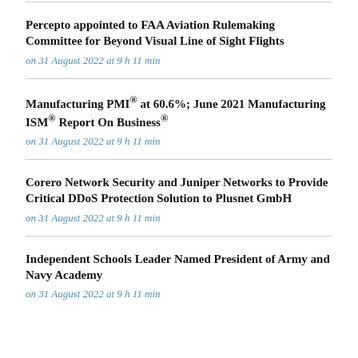Percepto appointed to FAA Aviation Rulemaking Committee for Beyond Visual Line of Sight Flights
on 31 August 2022 at 9 h 11 min
Manufacturing PMI® at 60.6%; June 2021 Manufacturing ISM® Report On Business®
on 31 August 2022 at 9 h 11 min
Corero Network Security and Juniper Networks to Provide Critical DDoS Protection Solution to Plusnet GmbH
on 31 August 2022 at 9 h 11 min
Independent Schools Leader Named President of Army and Navy Academy
on 31 August 2022 at 9 h 11 min